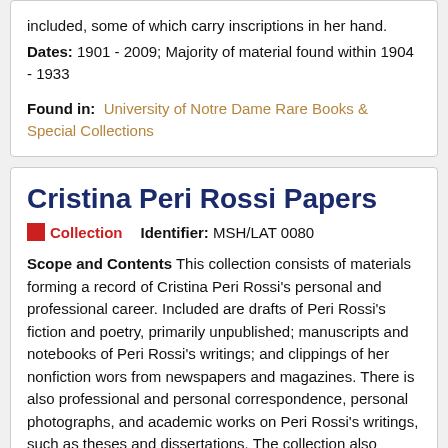included, some of which carry inscriptions in her hand.
Dates: 1901 - 2009; Majority of material found within 1904 - 1933
Found in: University of Notre Dame Rare Books & Special Collections
Cristina Peri Rossi Papers
Collection   Identifier: MSH/LAT 0080
Scope and Contents This collection consists of materials forming a record of Cristina Peri Rossi's personal and professional career. Included are drafts of Peri Rossi's fiction and poetry, primarily unpublished; manuscripts and notebooks of Peri Rossi's writings; and clippings of her nonfiction wors from newspapers and magazines. There is also professional and personal correspondence, personal photographs, and academic works on Peri Rossi's writings, such as theses and dissertations. The collection also includes...
Dates: 1940-2014